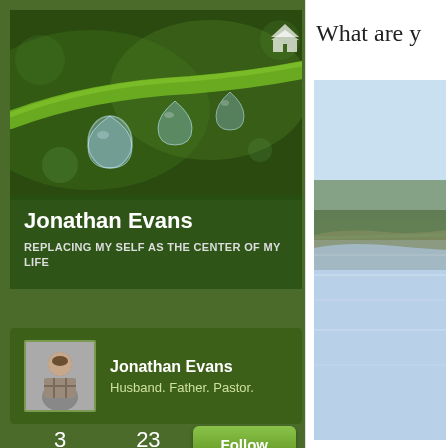[Figure (photo): Close-up photo of a green plant stem with water droplets hanging beneath it]
Jonathan Evans
REPLACING MY SELF AS THE CENTER OF MY LIFE
[Figure (photo): Profile photo of Jonathan Evans, a man in a plaid shirt]
Jonathan Evans
Husband. Father. Pastor.
3 FOLLOWING   23 FOLLOWERS   Follow
What are y
[Figure (photo): Photo of a lake or river shoreline with calm water and blue sky]